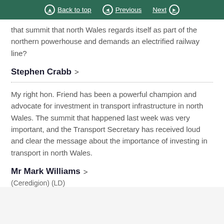Back to top   Previous   Next
that summit that north Wales regards itself as part of the northern powerhouse and demands an electrified railway line?
Stephen Crabb >
My right hon. Friend has been a powerful champion and advocate for investment in transport infrastructure in north Wales. The summit that happened last week was very important, and the Transport Secretary has received loud and clear the message about the importance of investing in transport in north Wales.
Mr Mark Williams >
(Ceredigion) (LD)